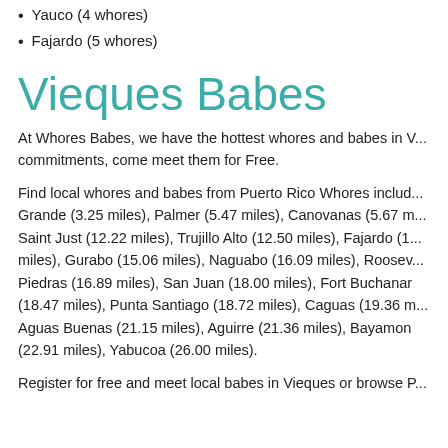Yauco (4 whores)
Fajardo (5 whores)
Vieques Babes
At Whores Babes, we have the hottest whores and babes in V... commitments, come meet them for Free.
Find local whores and babes from Puerto Rico Whores includ... Grande (3.25 miles), Palmer (5.47 miles), Canovanas (5.67 m... Saint Just (12.22 miles), Trujillo Alto (12.50 miles), Fajardo (1... miles), Gurabo (15.06 miles), Naguabo (16.09 miles), Roosev... Piedras (16.89 miles), San Juan (18.00 miles), Fort Buchanan (18.47 miles), Punta Santiago (18.72 miles), Caguas (19.36 m... Aguas Buenas (21.15 miles), Aguirre (21.36 miles), Bayamon... (22.91 miles), Yabucoa (26.00 miles).
Register for free and meet local babes in Vieques or browse P...